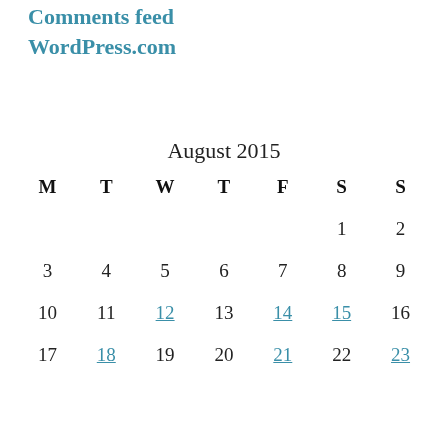Comments feed
WordPress.com
August 2015
| M | T | W | T | F | S | S |
| --- | --- | --- | --- | --- | --- | --- |
|  |  |  |  |  | 1 | 2 |
| 3 | 4 | 5 | 6 | 7 | 8 | 9 |
| 10 | 11 | 12 | 13 | 14 | 15 | 16 |
| 17 | 18 | 19 | 20 | 21 | 22 | 23 |